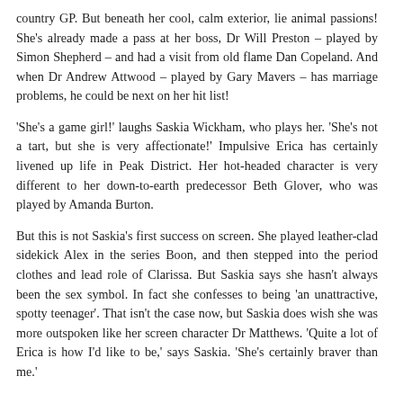country GP. But beneath her cool, calm exterior, lie animal passions! She's already made a pass at her boss, Dr Will Preston – played by Simon Shepherd – and had a visit from old flame Dan Copeland. And when Dr Andrew Attwood – played by Gary Mavers – has marriage problems, he could be next on her hit list!
'She's a game girl!' laughs Saskia Wickham, who plays her. 'She's not a tart, but she is very affectionate!' Impulsive Erica has certainly livened up life in Peak District. Her hot-headed character is very different to her down-to-earth predecessor Beth Glover, who was played by Amanda Burton.
But this is not Saskia's first success on screen. She played leather-clad sidekick Alex in the series Boon, and then stepped into the period clothes and lead role of Clarissa. But Saskia says she hasn't always been the sex symbol. In fact she confesses to being 'an unattractive, spotty teenager'. That isn't the case now, but Saskia does wish she was more outspoken like her screen character Dr Matthews. 'Quite a lot of Erica is how I'd like to be,' says Saskia. 'She's certainly braver than me.'